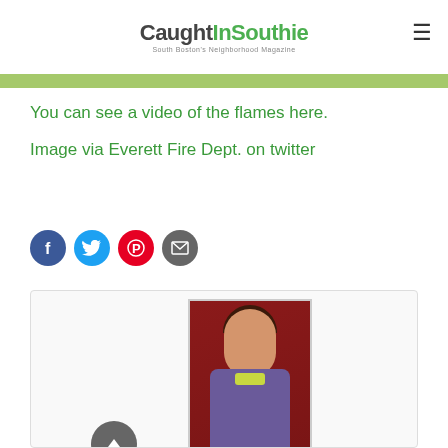CaughtInSouthie — South Boston's Neighborhood Magazine
You can see a video of the flames here.
Image via Everett Fire Dept. on twitter
[Figure (other): Social sharing buttons: Facebook (blue), Twitter (light blue), Pinterest (red), Email (gray)]
[Figure (photo): Card with a back-to-top arrow button and a profile photo of a woman smiling, wearing a colorful scarf, against a red background]